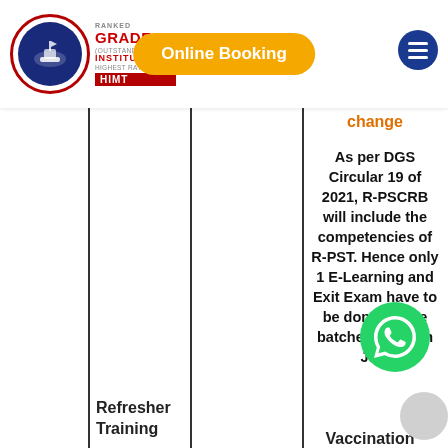HIMT Ranked Grade A1 Outstanding Institute Highest Rating
Online Booking
change
As per DGS Circular 19 of 2021, R-PSCRB will include the competencies of R-PST. Hence only 1 E-Learning and Exit Exam have to be done for the batches after 5th July
Refresher Training
Vaccination